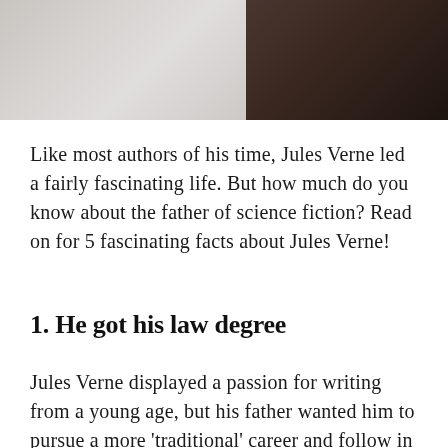[Figure (photo): Blurred/partially visible image showing a light-colored left portion and a dark brown/black right portion, likely a portrait or book cover related to Jules Verne]
Like most authors of his time, Jules Verne led a fairly fascinating life. But how much do you know about the father of science fiction? Read on for 5 fascinating facts about Jules Verne!
1. He got his law degree
Jules Verne displayed a passion for writing from a young age, but his father wanted him to pursue a more 'traditional' career and follow in his footsteps as a lawyer. Verne's father had